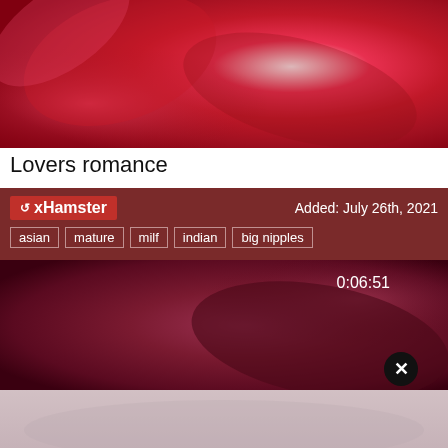[Figure (photo): Close-up blurry image with red and pink tones, abstract floral or organic shapes]
Lovers romance
xHamster   Added: July 26th, 2021
asian | mature | milf | indian | big nipples
[Figure (photo): Dark reddish-purple blurry video thumbnail with duration 0:06:51 shown in top right]
[Figure (photo): Light grayish-pink blurry image at the bottom of the page]